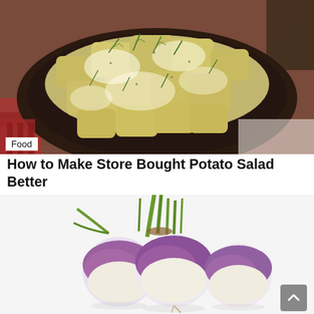[Figure (photo): A dark plate piled with creamy potato salad garnished with fresh dill, on a red checked cloth background]
Food
How to Make Store Bought Potato Salad Better
[Figure (photo): Three small purple and white turnips with green stems tied together, on a white background]